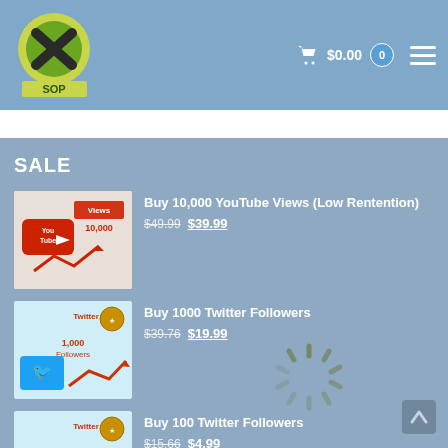[Figure (logo): Xbox-style logo with 'SOP' text below, green and yellow circular design]
$0.00  0
SALE
[Figure (illustration): YouTube Views product image showing YouTube logo, '10,000 views', red arrows]
Buy 10,000 YouTube Views (Low Rentention)
$49.99  $39.99
[Figure (illustration): Twitter Followers product image showing Twitter bird logo, '1,000 Followers', red arrows]
Buy 1000 Twitter Followers
$39.76  $19.99
[Figure (illustration): Twitter Followers product image showing Twitter bird logo, '100 Followers', red arrows]
Buy 100 Twitter Followers
$15.66  $4.99